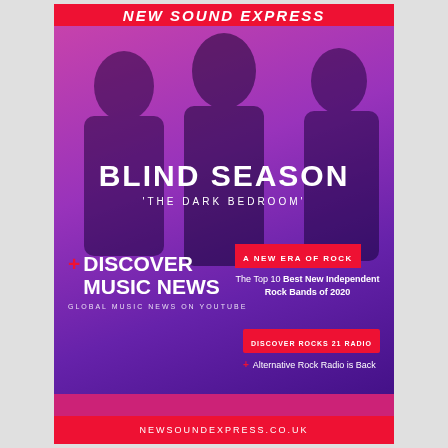NEW SOUND EXPRESS
[Figure (photo): Three band members sitting/posing against a magenta/purple gradient background. The image has a strong pink-purple color wash overlay.]
BLIND SEASON
'THE DARK BEDROOM'
+ DISCOVER MUSIC NEWS
GLOBAL MUSIC NEWS ON YOUTUBE
A NEW ERA OF ROCK
The Top 10 Best New Independent Rock Bands of 2020
DISCOVER ROCKS 21 RADIO
+ Alternative Rock Radio is Back
NEWSOUNDEXPRESS.CO.UK